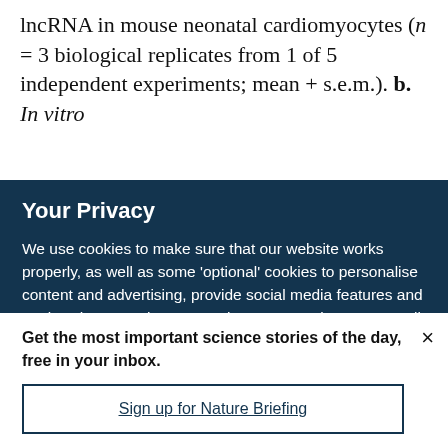lncRNA in mouse neonatal cardiomyocytes (n = 3 biological replicates from 1 of 5 independent experiments; mean + s.e.m.). b. In vitro
Your Privacy
We use cookies to make sure that our website works properly, as well as some 'optional' cookies to personalise content and advertising, provide social media features and analyse how people use our site. By accepting some or all optional cookies you give consent to the processing of your personal data, including transfer to third parties, some in countries outside of the European Economic Area that do not offer the same data protection standards as the country where you live. You can decide which optional cookies to accept by clicking on 'Manage Settings', where you can
Get the most important science stories of the day, free in your inbox.
Sign up for Nature Briefing